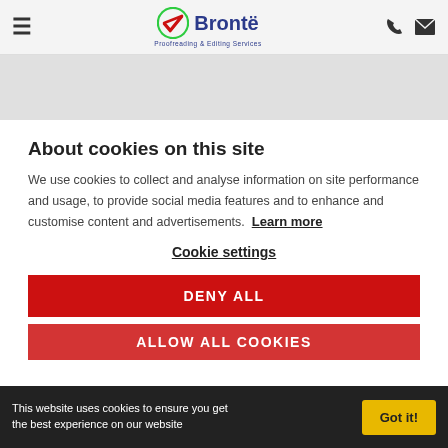Brontë Proofreading & Editing Services — navigation header
[Figure (logo): Brontë Proofreading & Editing Services logo with green/red checkmark and blue text]
About cookies on this site
We use cookies to collect and analyse information on site performance and usage, to provide social media features and to enhance and customise content and advertisements. Learn more
Cookie settings
DENY ALL
ALLOW ALL COOKIES
This website uses cookies to ensure you get the best experience on our website   Got it!